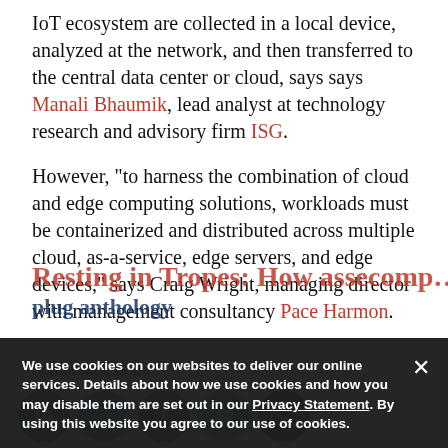IoT ecosystem are collected in a local device, analyzed at the network, and then transferred to the central data center or cloud, says says Manali Bhaumik, lead analyst at technology research and advisory firm ISG.
However, "to harness the combination of cloud and edge computing solutions, workloads must be containerized and distributed across multiple cloud, as-a-service, edge servers, and edge devices," says Craig Wright, managing director with management consultancy Pace Harmon.
We use cookies on our websites to deliver our online services. Details about how we use cookies and how you may disable them are set out in our Privacy Statement. By using this website you agree to our use of cookies.
Sometimes, nothi